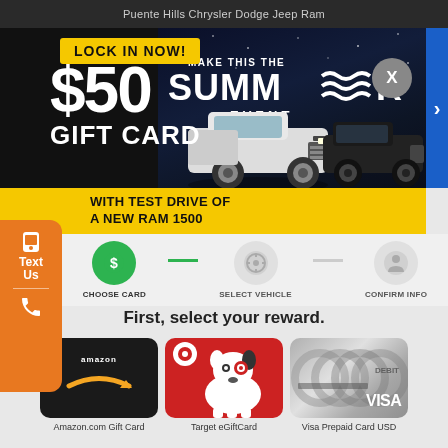Puente Hills Chrysler Dodge Jeep Ram
[Figure (infographic): Automotive dealership promotional ad banner: 'LOCK IN NOW! $50 GIFT CARD - MAKE THIS THE SUMMER EVENT' with two RAM 1500 trucks on a dark night background and yellow strip reading 'WITH TEST DRIVE OF A NEW RAM 1500']
[Figure (infographic): Three-step progress bar: CHOOSE CARD (active/green), SELECT VEHICLE, CONFIRM INFO]
First, select your reward.
[Figure (illustration): Amazon.com Gift Card - black card with Amazon logo and smile arrow]
Amazon.com Gift Card
[Figure (illustration): Target eGiftCard - red card with Target bullseye dog mascot]
Target eGiftCard
[Figure (illustration): Visa Prepaid Card USD - silver/grey card with Visa logo]
Visa Prepaid Card USD